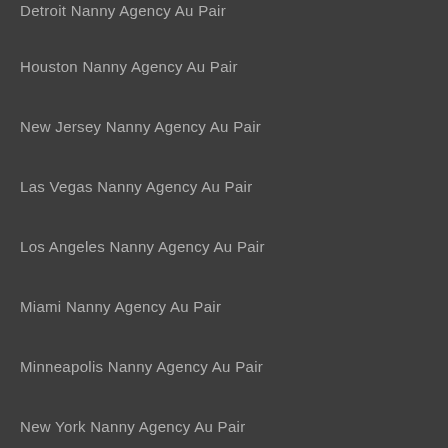Detroit Nanny Agency Au Pair
Houston Nanny Agency Au Pair
New Jersey Nanny Agency Au Pair
Las Vegas Nanny Agency Au Pair
Los Angeles Nanny Agency Au Pair
Miami Nanny Agency Au Pair
Minneapolis Nanny Agency Au Pair
New York Nanny Agency Au Pair